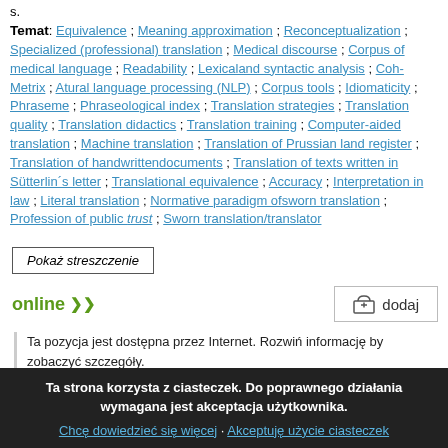s.
Temat: Equivalence ; Meaning approximation ; Reconceptualization ; Specialized (professional) translation ; Medical discourse ; Corpus of medical language ; Readability ; Lexicaland syntactic analysis ; Coh-Metrix ; Atural language processing (NLP) ; Corpus tools ; Idiomaticity ; Phraseme ; Phraseological index ; Translation strategies ; Translation quality ; Translation didactics ; Translation training ; Computer-aided translation ; Machine translation ; Translation of Prussian land register ; Translation of handwrittendocuments ; Translation of texts written in Sütterlin´s letter ; Translational equivalence ; Accuracy ; Interpretation in law ; Literal translation ; Normative paradigm ofsworn translation ; Profession of public trust ; Sworn translation/translator
Pokaż streszczenie
online
dodaj
Ta pozycja jest dostępna przez Internet. Rozwiń informację by zobaczyć szczegóły.
Ta strona korzysta z ciasteczek. Do poprawnego działania wymagana jest akceptacja użytkownika.
Chcę dowiedzieć się więcej · Akceptuję użycie ciasteczek